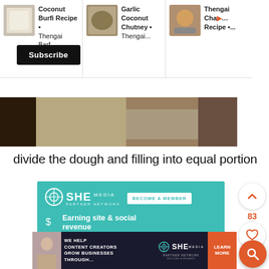[Figure (screenshot): Top navigation bar with three recipe thumbnail items: Coconut Burfi Recipe • Thengai Barf..., Garlic Coconut Chutney • Thengai..., Thengai Cha[m]... Recipe •...]
Coconut Burfi Recipe • Thengai Barf...
Garlic Coconut Chutney • Thengai...
Thengai Cha... Recipe •...
[Figure (photo): Subscribe button on dark background, dark UI element]
Subscribe
[Figure (photo): Partial food photo showing wooden surface and dark vessel]
divide the dough and filling into equal portion
[Figure (infographic): SHE Media Partner Network advertisement with teal background. Shows BECOME A MEMBER button, Earning site & social revenue, and Traffic growth features with icons.]
[Figure (screenshot): Bottom SHE Media banner ad: WE HELP CONTENT CREATORS GROW BUSINESSES THROUGH... with LEARN MORE button]
83